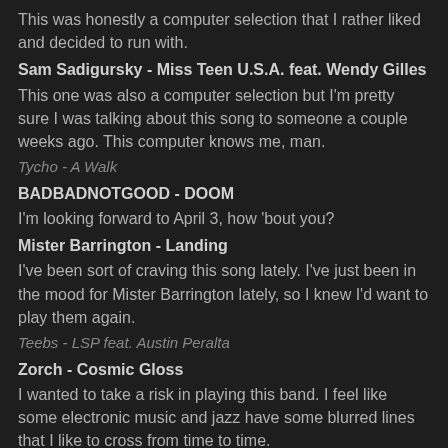This was honestly a computer selection that I rather liked and decided to run with.
Sam Sadigursky - Miss Teen U.S.A. feat. Wendy Gilles
This one was also a computer selection but I'm pretty sure I was talking about this song to someone a couple weeks ago. This computer knows me, man.
Tycho - A Walk
BADBADNOTGOOD - DOOM
I'm looking forward to April 3, how 'bout you?
Mister Barrington - Landing
I've been sort of craving this song lately. I've just been in the mood for Mister Barrington lately, so I knew I'd want to play them again.
Teebs - LSP feat. Austin Peralta
Zorch - Cosmic Gloss
I wanted to take a risk in playing this band. I feel like some electronic music and jazz have some blurred lines that I like to cross from time to time.